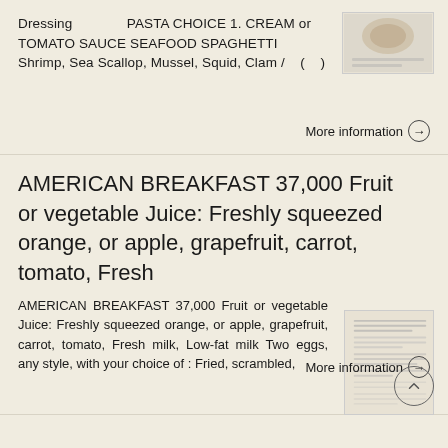Dressing    PASTA CHOICE 1. CREAM or TOMATO SAUCE SEAFOOD SPAGHETTI Shrimp, Sea Scallop, Mussel, Squid, Clam /  (  )
[Figure (photo): Small thumbnail image of a dish or menu item]
More information →
AMERICAN BREAKFAST 37,000 Fruit or vegetable Juice: Freshly squeezed orange, or apple, grapefruit, carrot, tomato, Fresh
AMERICAN BREAKFAST 37,000 Fruit or vegetable Juice: Freshly squeezed orange, or apple, grapefruit, carrot, tomato, Fresh milk, Low-fat milk Two eggs, any style, with your choice of : Fried, scrambled,
[Figure (screenshot): Thumbnail of a menu document page]
More information →